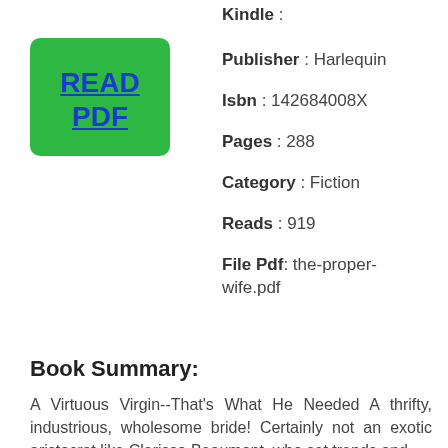[Figure (other): Green READ PDF button]
Kindle :
Publisher : Harlequin
Isbn : 142684008X
Pages : 288
Category : Fiction
Reads : 919
File Pdf: the-proper-wife.pdf
Book Summary:
A Virtuous Virgin--That's What He Needed A thrifty, industrious, wholesome bride! Certainly not an exotic aristocrat like Clarissa Beaumont, who set trends and